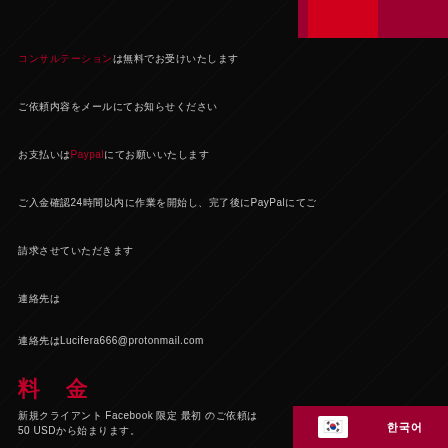[Figure (other): Red banner/badge at top right corner]
コンサルテーションは無料でお受けいたします
ご依頼内容をメールにてお知らせください
お支払いはPaypalにてお願いいたします
ご入金確認24時間以内に作業を開始し、完了後にPayPalにてご
請求させていただきます
連絡先はLucifera666@protonmail.com
料 金
新規クライアント Facebook 限定 最初 のご依頼は
50 USDから始まります。
[Figure (other): Korean flag and 한국어 label at bottom right]